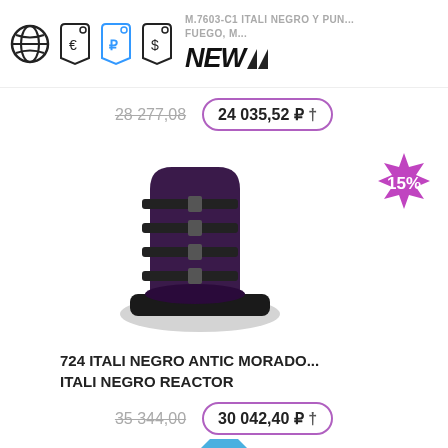[Figure (illustration): Globe icon, euro tag icon, ruble tag icon (blue outline), dollar tag icon]
M.7603-C1 ITALI NEGRO Y PUN... FUEGO, M...
[Figure (logo): NEW brand logo in bold italic black lettering with triangle marks]
28 277,08
24 035,52 ₽
[Figure (photo): Black and dark purple leather platform boots with multiple buckle straps]
[Figure (infographic): Purple starburst badge with 15% discount text]
724 ITALI NEGRO ANTIC MORADO... ITALI NEGRO REACTOR
35 344,00
30 042,40 ₽
[Figure (illustration): Blue triangle shape at bottom of page]